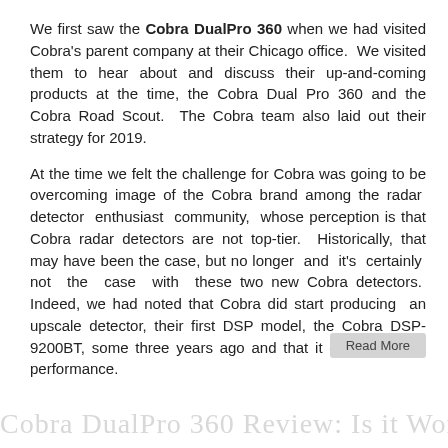We first saw the Cobra DualPro 360 when we had visited Cobra's parent company at their Chicago office. We visited them to hear about and discuss their up-and-coming products at the time, the Cobra Dual Pro 360 and the Cobra Road Scout. The Cobra team also laid out their strategy for 2019.
At the time we felt the challenge for Cobra was going to be overcoming image of the Cobra brand among the radar detector enthusiast community, whose perception is that Cobra radar detectors are not top-tier. Historically, that may have been the case, but no longer and it's certainly not the case with these two new Cobra detectors. Indeed, we had noted that Cobra did start producing an upscale detector, their first DSP model, the Cobra DSP-9200BT, some three years ago and that it did offer good performance.